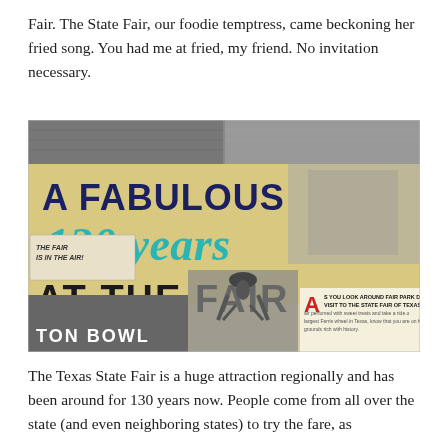Fair. The State Fair, our foodie temptress, came beckoning her fried song. You had me at fried, my friend. No invitation necessary.
[Figure (photo): Vintage collage/book cover image reading 'A Fabulous 130 years AT THE FAIR' with teal script for '130 years', dark navy block letters for other text, vintage black-and-white photos of fairgrounds, crowd scenes, a cowboy, cotton bowl area labeled 'TON BOWL', small inset text panel reading 'AS YOU LOOK AROUND FAIR PARK DURING YOUR VISIT TO THE STATE FAIR OF TEXAS, breathe in air perfumed with sweet treats and take a ride on the largest Ferris wheel in Texas, know that you are on hallowed grounds rich with history.' and a sub-image labeled 'THE FAIR IS IN THE AIR!']
The Texas State Fair is a huge attraction regionally and has been around for 130 years now. People come from all over the state (and even neighboring states) to try the fare, as